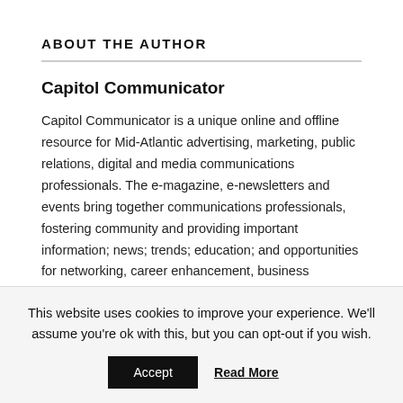ABOUT THE AUTHOR
Capitol Communicator
Capitol Communicator is a unique online and offline resource for Mid-Atlantic advertising, marketing, public relations, digital and media communications professionals. The e-magazine, e-newsletters and events bring together communications professionals, fostering community and providing important information; news; trends; education; and opportunities for networking, career enhancement, business exchange and showcasing great work. Visit
This website uses cookies to improve your experience. We'll assume you're ok with this, but you can opt-out if you wish.
Accept   Read More